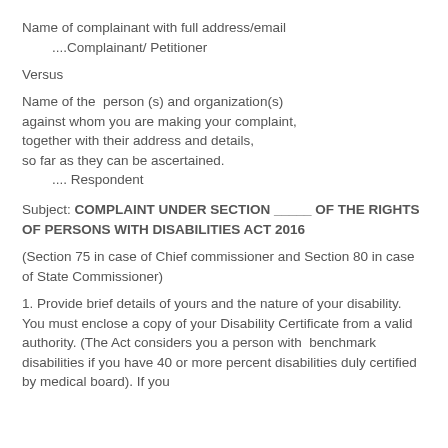Name of complainant with full address/email
    ....Complainant/ Petitioner
Versus
Name of the  person (s) and organization(s) against whom you are making your complaint, together with their address and details, so far as they can be ascertained.
    .... Respondent
Subject: COMPLAINT UNDER SECTION _____ OF THE RIGHTS OF PERSONS WITH DISABILITIES ACT 2016
(Section 75 in case of Chief commissioner and Section 80 in case of State Commissioner)
1. Provide brief details of yours and the nature of your disability. You must enclose a copy of your Disability Certificate from a valid authority. (The Act considers you a person with  benchmark disabilities if you have 40 or more percent disabilities duly certified by medical board). If you